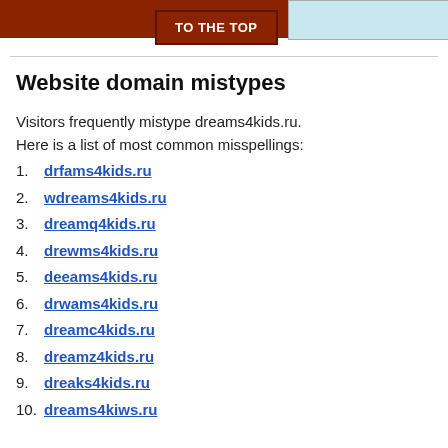[Figure (other): Top banner with brown/rust background and a light blue section on the right, with a 'TO THE TOP' button in brown]
Website domain mistypes
Visitors frequently mistype dreams4kids.ru.
Here is a list of most common misspellings:
1. drfams4kids.ru
2. wdreams4kids.ru
3. dreamq4kids.ru
4. drewms4kids.ru
5. deeams4kids.ru
6. drwams4kids.ru
7. dreamc4kids.ru
8. dreamz4kids.ru
9. dreaks4kids.ru
10. dreams4kiws.ru